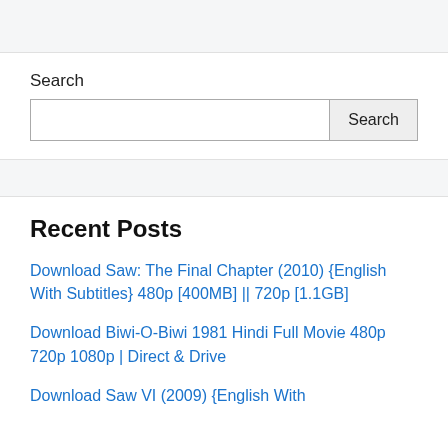Search
Recent Posts
Download Saw: The Final Chapter (2010) {English With Subtitles} 480p [400MB] || 720p [1.1GB]
Download Biwi-O-Biwi 1981 Hindi Full Movie 480p 720p 1080p | Direct & Drive
Download Saw VI (2009) {English With